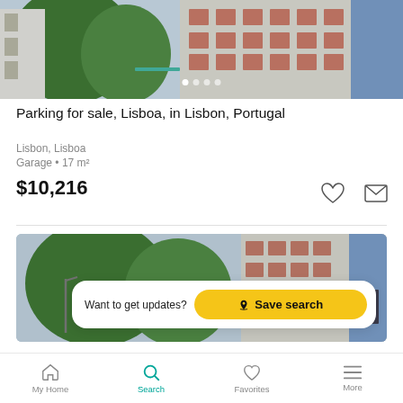[Figure (photo): Building exterior with trees in the foreground, apartment block with blue and beige facade]
Parking for sale, Lisboa, in Lisbon, Portugal
Lisbon, Lisboa
Garage • 17 m²
$10,216
[Figure (photo): Second photo of same building exterior with trees, apartment block with blue and beige facade]
Want to get updates? Save search
My Home  Search  Favorites  More